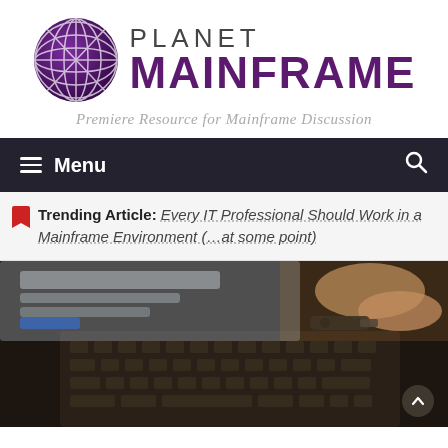[Figure (logo): Planet Mainframe logo with purple globe icon and text 'PLANET MAINFRAME']
Premiere Resource for Mainframe Discussion
≡ Menu
Trending Article: Every IT Professional Should Work in a Mainframe Environment (…at some point)
[Figure (photo): Close-up photo of hands using a laptop keyboard, with a USB key or small device being inserted]